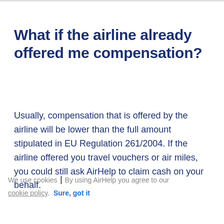What if the airline already offered me compensation?
Usually, compensation that is offered by the airline will be lower than the full amount stipulated in EU Regulation 261/2004. If the airline offered you travel vouchers or air miles, you could still ask AirHelp to claim cash on your behalf.
We use cookies | By using AirHelp you agree to our cookie policy. Sure, got it